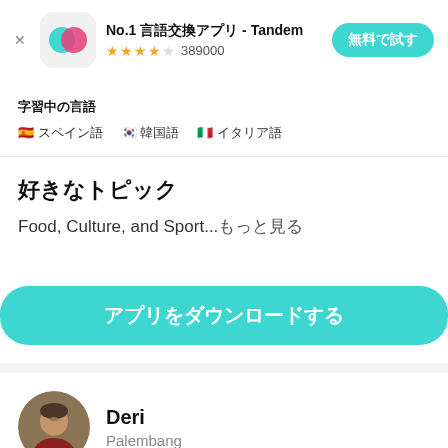[Figure (screenshot): Tandem app advertisement banner with app icon, name, star rating of 389000 reviews, and 無料で試す (Try for free) button]
字習中の言語
🇪🇸 スペイン語　🇰🇷 韓国語　🇮🇹 イタリア語
好きなトピック
Food, Culture, and Sport...もっと見る
アプリをダウンロードする
Deri
Palembang